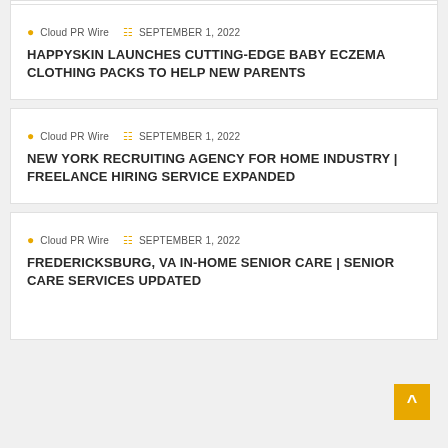Cloud PR Wire  SEPTEMBER 1, 2022
HAPPYSKIN LAUNCHES CUTTING-EDGE BABY ECZEMA CLOTHING PACKS TO HELP NEW PARENTS
Cloud PR Wire  SEPTEMBER 1, 2022
NEW YORK RECRUITING AGENCY FOR HOME INDUSTRY | FREELANCE HIRING SERVICE EXPANDED
Cloud PR Wire  SEPTEMBER 1, 2022
FREDERICKSBURG, VA IN-HOME SENIOR CARE | SENIOR CARE SERVICES UPDATED